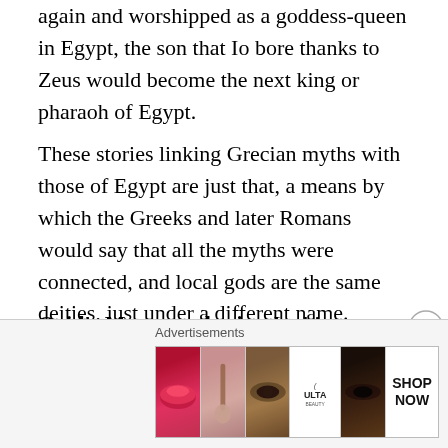again and worshipped as a goddess-queen in Egypt, the son that Io bore thanks to Zeus would become the next king or pharaoh of Egypt.
These stories linking Grecian myths with those of Egypt are just that, a means by which the Greeks and later Romans would say that all the myths were connected, and local gods are the same deities, just under a different name.
Ovid's Metamorphosis – In this retelling, after learning about Argus' death, Hera places his eyes on the tail feathers of peacocks, one of her sacred animals.
Callisto & Arcas
[Figure (other): ULTA Beauty advertisement banner with makeup imagery showing lips, brush, eye closeup, ULTA logo, eye closeup, and SHOP NOW text]